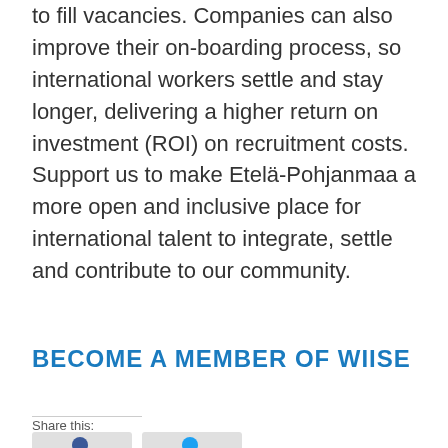to fill vacancies. Companies can also improve their on-boarding process, so international workers settle and stay longer, delivering a higher return on investment (ROI) on recruitment costs.
Support us to make Etelä-Pohjanmaa a more open and inclusive place for international talent to integrate, settle and contribute to our community.
BECOME A MEMBER OF WIISE
Share this: